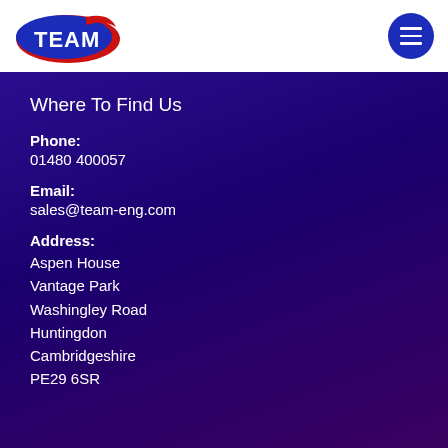TEAM (logo) | navigation menu button
Where To Find Us
Phone:
01480 400057
Email:
sales@team-eng.com
Address:
Aspen House
Vantage Park
Washingley Road
Huntingdon
Cambridgeshire
PE29 6SR